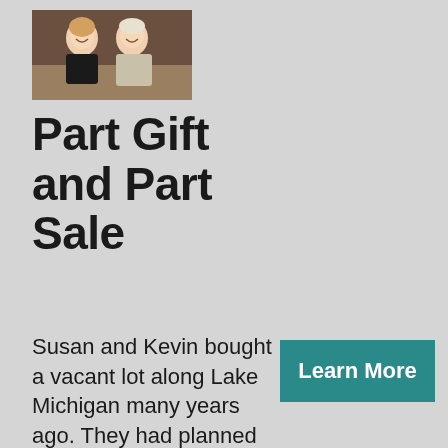[Figure (photo): A smiling couple, a woman and a man, photographed indoors in a warm interior setting.]
Part Gift and Part Sale
Susan and Kevin bought a vacant lot along Lake Michigan many years ago. They had planned to build a second home so that their family could spend their summers
Learn More